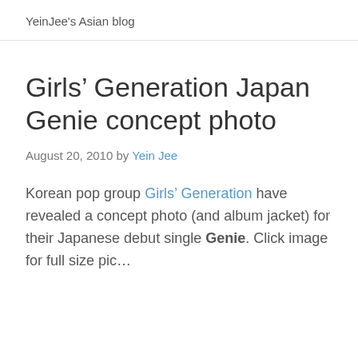YeinJee's Asian blog
Girls’ Generation Japan Genie concept photo
August 20, 2010 by Yein Jee
Korean pop group Girls’ Generation have revealed a concept photo (and album jacket) for their Japanese debut single Genie. Click image for full size pic…